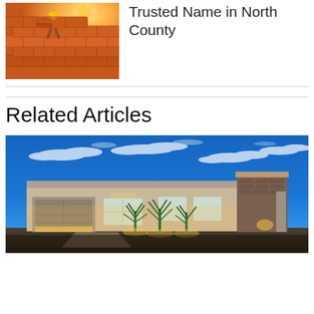[Figure (photo): Worker laying roof tiles in sunlight, orange/warm tones]
Trusted Name in North County
[Figure (photo): Modern illuminated house at dusk with blue sky and palms]
Related Articles